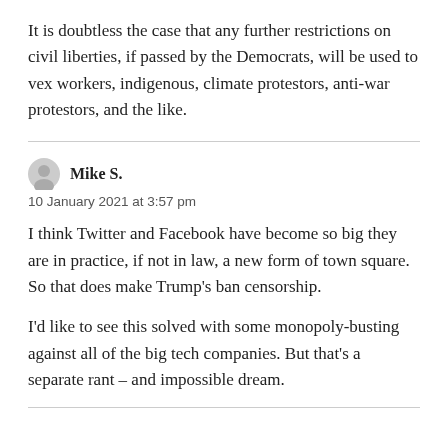It is doubtless the case that any further restrictions on civil liberties, if passed by the Democrats, will be used to vex workers, indigenous, climate protestors, anti-war protestors, and the like.
Mike S.
10 January 2021 at 3:57 pm
I think Twitter and Facebook have become so big they are in practice, if not in law, a new form of town square. So that does make Trump's ban censorship.
I'd like to see this solved with some monopoly-busting against all of the big tech companies. But that's a separate rant – and impossible dream.